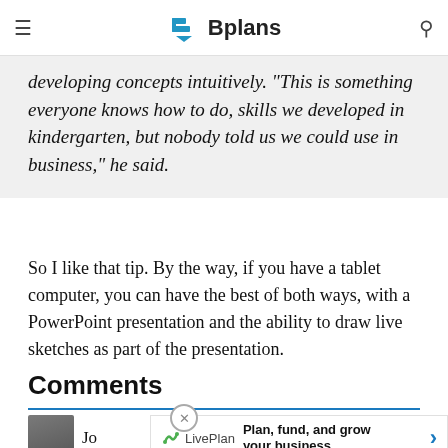Bplans
developing concepts intuitively. “This is something everyone knows how to do, skills we developed in kindergarten, but nobody told us we could use in business,” he said.
So I like that tip. By the way, if you have a tablet computer, you can have the best of both ways, with a PowerPoint presentation and the ability to draw live sketches as part of the presentation.
Comments
[Figure (other): LivePlan advertisement banner: Plan, fund, and grow your business]